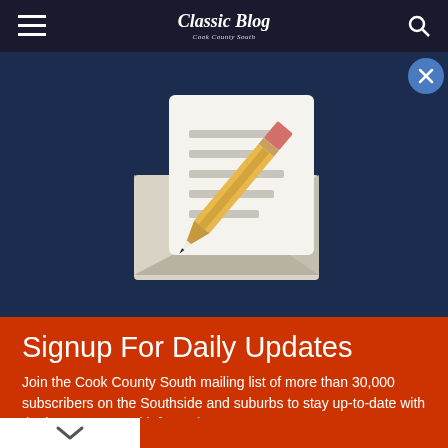Classic Blog
[Figure (illustration): Email newsletter signup illustration: an open envelope with a document/letter and a pencil on a dark navy blue background]
Signup For Daily Updates
Join the Cook County South mailing list of more than 30,000 subscribers on the Southside and suburbs to stay up-to-date with the latest news and information.